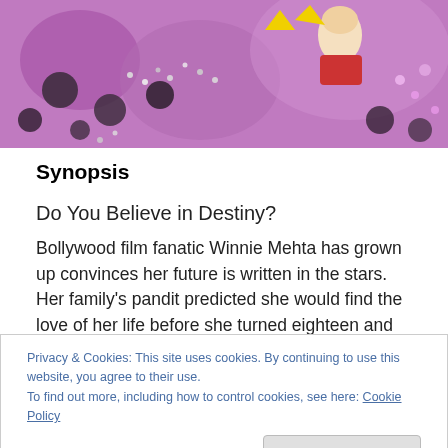[Figure (photo): Close-up of purple fabric with sequins, beads, and Bollywood-themed decorative elements including cartoon-style characters with yellow accessories.]
Synopsis
Do You Believe in Destiny?
Bollywood film fanatic Winnie Mehta has grown up convinces her future is written in the stars. Her family's pandit predicted she would find the love of her life before she turned eighteen and her boyfriend Raj ticks all the
Privacy & Cookies: This site uses cookies. By continuing to use this website, you agree to their use.
To find out more, including how to control cookies, see here: Cookie Policy
take the future into her own hands. With a little help from